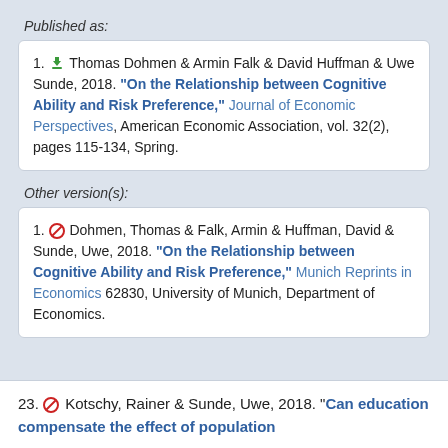Published as:
1. [download icon] Thomas Dohmen & Armin Falk & David Huffman & Uwe Sunde, 2018. "On the Relationship between Cognitive Ability and Risk Preference," Journal of Economic Perspectives, American Economic Association, vol. 32(2), pages 115-134, Spring.
Other version(s):
1. [block icon] Dohmen, Thomas & Falk, Armin & Huffman, David & Sunde, Uwe, 2018. "On the Relationship between Cognitive Ability and Risk Preference," Munich Reprints in Economics 62830, University of Munich, Department of Economics.
23. [block icon] Kotschy, Rainer & Sunde, Uwe, 2018. "Can education compensate the effect of population